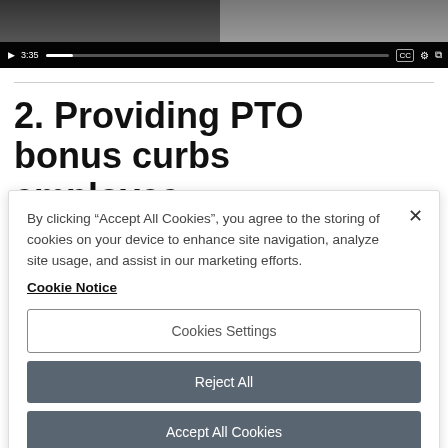[Figure (screenshot): Video player showing a group of people, with playback controls: play button, timestamp 3:35, progress bar, CC button, settings gear icon, and fullscreen icon]
2. Providing PTO bonus curbs employee
By clicking “Accept All Cookies”, you agree to the storing of cookies on your device to enhance site navigation, analyze site usage, and assist in our marketing efforts.
Cookie Notice
Cookies Settings
Reject All
Accept All Cookies